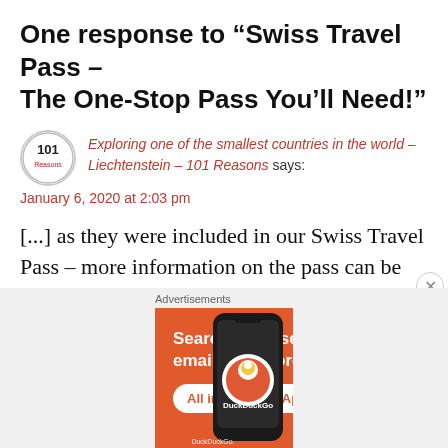One response to “Swiss Travel Pass – The One-Stop Pass You’ll Need!”
Exploring one of the smallest countries in the world – Liechtenstein – 101 Reasons says: January 6, 2020 at 2:03 pm
[...] as they were included in our Swiss Travel Pass – more information on the pass can be found here and you can purchase it from Klook using this referral link [...]
[Figure (infographic): DuckDuckGo advertisement banner with orange background. Text reads: Search, browse, and email with more privacy. All in One Free App. Shows DuckDuckGo logo and phone mockup.]